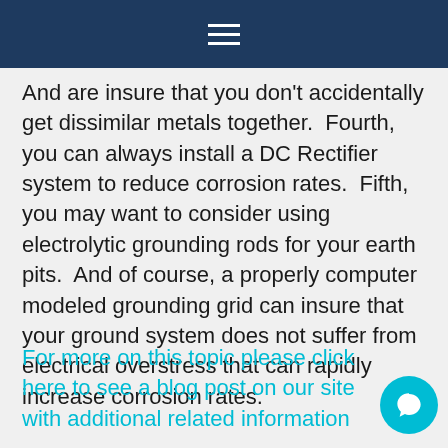And are insure that you don't accidentally get dissimilar metals together.  Fourth, you can always install a DC Rectifier system to reduce corrosion rates.  Fifth, you may want to consider using electrolytic grounding rods for your earth pits.  And of course, a properly computer modeled grounding grid can insure that your ground system does not suffer from electrical overstress that can rapidly increase corrosion rates.
For more on this topic please click here to see a blog post on our site with additional related information